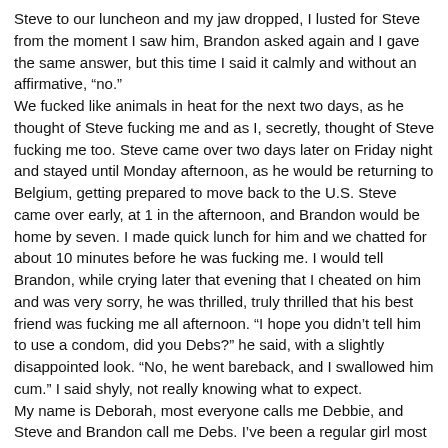Steve to our luncheon and my jaw dropped, I lusted for Steve from the moment I saw him, Brandon asked again and I gave the same answer, but this time I said it calmly and without an affirmative, “no.” We fucked like animals in heat for the next two days, as he thought of Steve fucking me and as I, secretly, thought of Steve fucking me too. Steve came over two days later on Friday night and stayed until Monday afternoon, as he would be returning to Belgium, getting prepared to move back to the U.S. Steve came over early, at 1 in the afternoon, and Brandon would be home by seven. I made quick lunch for him and we chatted for about 10 minutes before he was fucking me. I would tell Brandon, while crying later that evening that I cheated on him and was very sorry, he was thrilled, truly thrilled that his best friend was fucking me all afternoon. “I hope you didn’t tell him to use a condom, did you Debs?” he said, with a slightly disappointed look. “No, he went bareback, and I swallowed him cum.” I said shyly, not really knowing what to expect. My name is Deborah, most everyone calls me Debbie, and Steve and Brandon call me Debs. I’ve been a regular girl most of my life and have had 3 boyfriends before my